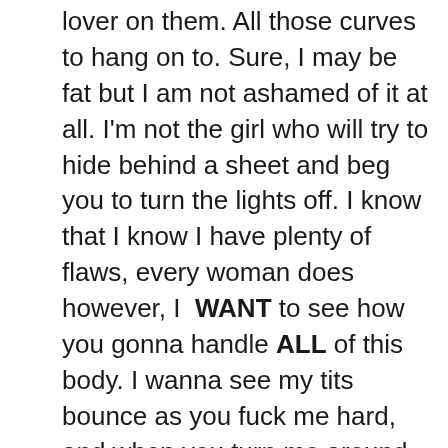lover on them. All those curves to hang on to. Sure, I may be fat but I am not ashamed of it at all. I'm not the girl who will try to hide behind a sheet and beg you to turn the lights off. I know that I know I have plenty of flaws, every woman does however, I WANT to see how you gonna handle ALL of this body. I wanna see my tits bounce as you fuck me hard, and when you turn me around and hit it from the back, I wanna watch us in the mirror and see how my body ripples every time you thrust that dick hard inside of me. I want to see your hands gripping my wide hips and I want to see you slap my ass hard and leave your hand print. You don't have to worry about breaking me in half either, I have plenty of cushion so you can go as hard as you want, lover. Come take a ride and enjoy some fat girl phone sex with your big girl, Pearl! I'm up for